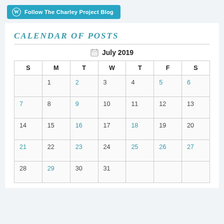[Figure (other): WordPress Follow The Charley Project Blog button in teal/cyan color with WordPress logo icon]
CALENDAR OF POSTS
| S | M | T | W | T | F | S |
| --- | --- | --- | --- | --- | --- | --- |
|  | 1 | 2 | 3 | 4 | 5 | 6 |
| 7 | 8 | 9 | 10 | 11 | 12 | 13 |
| 14 | 15 | 16 | 17 | 18 | 19 | 20 |
| 21 | 22 | 23 | 24 | 25 | 26 | 27 |
| 28 | 29 | 30 | 31 |  |  |  |